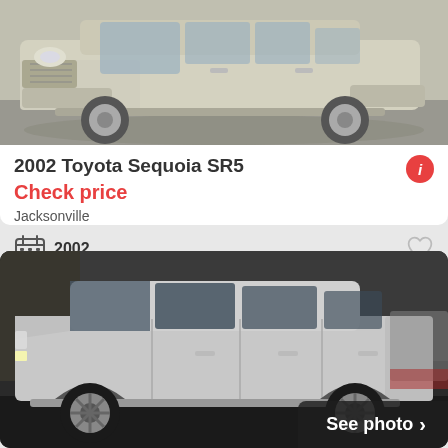[Figure (photo): Silver/beige Toyota Sequoia SUV side/front view, silver metallic paint, parking lot background]
2002 Toyota Sequoia SR5
Check price
Jacksonville
2002
30+ days ago
View car
[Figure (photo): Silver Toyota 4Runner SUV side view, parking lot with other vehicles in background, See photo button overlay]